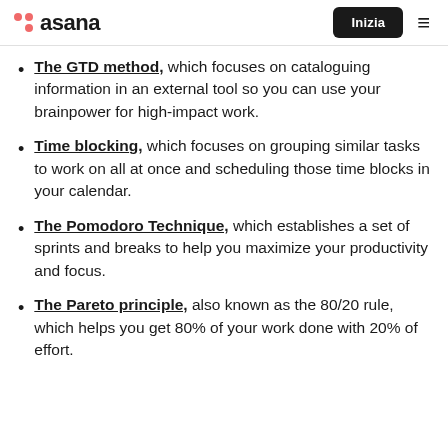asana | Inizia
The GTD method, which focuses on cataloguing information in an external tool so you can use your brainpower for high-impact work.
Time blocking, which focuses on grouping similar tasks to work on all at once and scheduling those time blocks in your calendar.
The Pomodoro Technique, which establishes a set of sprints and breaks to help you maximize your productivity and focus.
The Pareto principle, also known as the 80/20 rule, which helps you get 80% of your work done with 20% of effort.